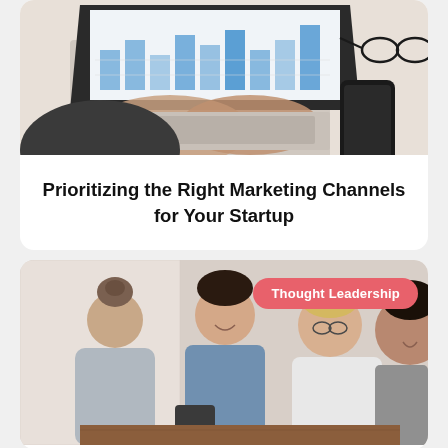[Figure (photo): Overhead view of a person typing on a laptop with a smartphone and glasses on the desk beside it]
Prioritizing the Right Marketing Channels for Your Startup
[Figure (photo): Group of young people sitting together, smiling and looking at a smartphone, with a 'Thought Leadership' badge overlay]
Thought Leadership